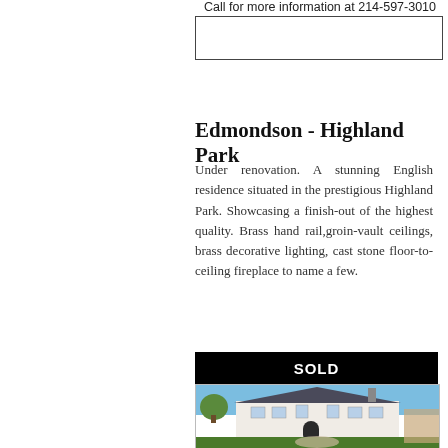Call for more information at 214-597-3010
Edmondson - Highland Park
Under renovation. A stunning English residence situated in the prestigious Highland Park. Showcasing a finish-out of the highest quality. Brass hand rail,groin-vault ceilings, brass decorative lighting, cast stone floor-to-ceiling fireplace to name a few.
SOLD
[Figure (photo): Exterior photo of a large white English-style two-story residence with a dark slate roof, classical columns, arched entrance, multiple windows, and a circular driveway with manicured lawn in Highland Park.]